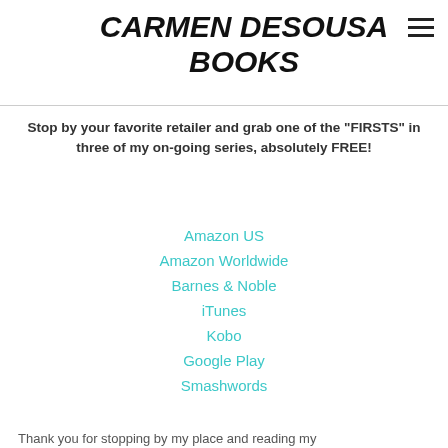CARMEN DESOUSA BOOKS
Stop by your favorite retailer and grab one of the "FIRSTS" in three of my on-going series, absolutely FREE!
Amazon US
Amazon Worldwide
Barnes & Noble
iTunes
Kobo
Google Play
Smashwords
Thank you for stopping by my place and reading my